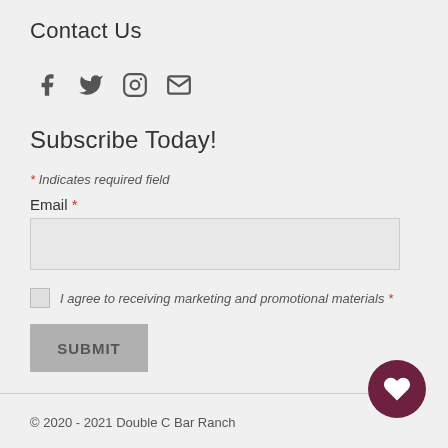Contact Us
[Figure (other): Social media icons: Facebook, Twitter, Instagram, Email]
Subscribe Today!
* Indicates required field
Email *
I agree to receiving marketing and promotional materials *
SUBMIT
© 2020 - 2021 Double C Bar Ranch